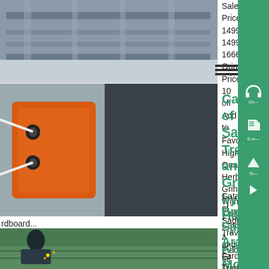Sale Price 1499 1499 1666 Original Price 10 off Add to Favorites High Quality Herb Grinder With Kief Catcher 4 Piece 25 SoupysGrindersIRE 5 out of 5 stars 74 Sale Price 2833 2833 3541 Original ....
[Figure (photo): Industrial interior photo showing metal framework/ceiling]
[Figure (photo): Close-up of orange and grey industrial machinery with black connectors]
Catalogue of Saddlery, Travelware and Grindery by Harris , - Know More
Catalogue of Saddlery, Travelware and Grindery Author Harris, Scarfe Ltd Book Binding Paperback / softback Book Condition VERYGOOD All of our paper waste is recycled within the UK and turned into corrugated rdboard...
[Figure (photo): Person welding or grinding on a metal grated surface, wearing work clothes]
Breville Saudi Arabia - Know More
Farouk Trading and Contracting Co LTD Brurj Arab, Al-Hamra District, PO Box 4591, Jed...